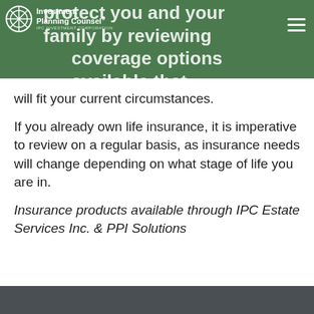protect you and your family by reviewing all the coverage options available that will fit your current circumstances.
If you already own life insurance, it is imperative to review on a regular basis, as insurance needs will change depending on what stage of life you are in.
Insurance products available through IPC Estate Services Inc. & PPI Solutions
[Figure (logo): Investment Planning Counsel logo with circular emblem, IPC INVESTMENT CORPORATION subtitle, on dark grey footer background]